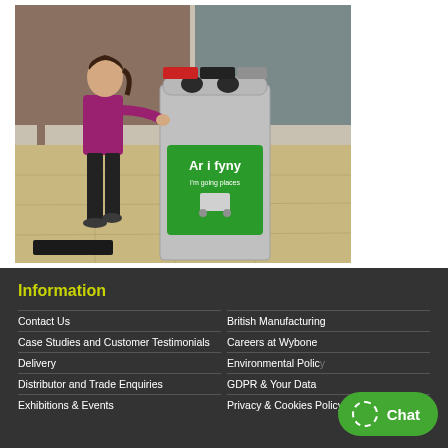[Figure (photo): A woman in a purple top and black trousers using a stainless steel recycling bin station outdoors. The recycling unit has two circular openings on top and a green panel reading 'Ar i fyny'. The setting appears to be a public area with stone paving.]
Information
Contact Us
Case Studies and Customer Testimonials
Delivery
Distributor and Trade Enquiries
Exhibitions & Events
British Manufacturing
Careers at Wybone
Environmental Policy
GDPR & Your Data
Privacy & Cookies Policy